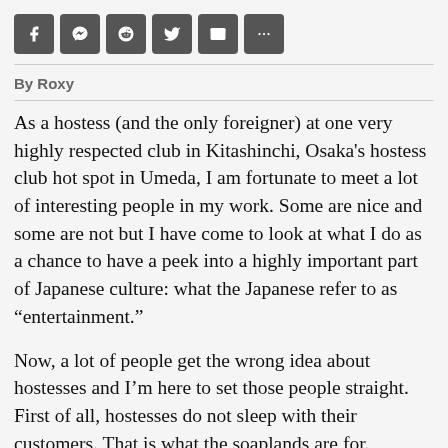Social share buttons: Facebook, Messenger, Reddit, Twitter, Email, More
By Roxy
As a hostess (and the only foreigner) at one very highly respected club in Kitashinchi, Osaka's hostess club hot spot in Umeda, I am fortunate to meet a lot of interesting people in my work. Some are nice and some are not but I have come to look at what I do as a chance to have a peek into a highly important part of Japanese culture: what the Japanese refer to as “entertainment.”
Now, a lot of people get the wrong idea about hostesses and I’m here to set those people straight. First of all, hostesses do not sleep with their customers. That is what the soaplands are for.